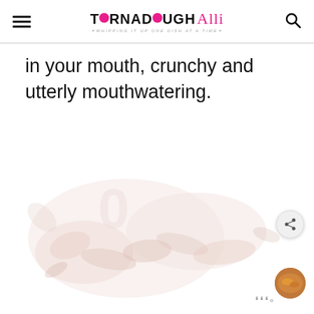TORNADOUGH Alli — Whipping it up one dish at a time
in your mouth, crunchy and utterly mouthwatering.
[Figure (photo): Faded/washed-out food photo showing what appears to be fried or breaded food items on a light background]
wm°